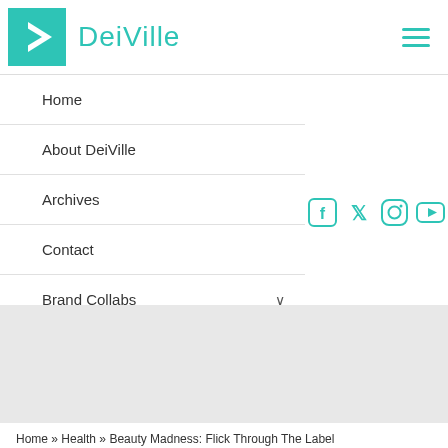DeiVille
Home
About DeiVille
Archives
Contact
Brand Collabs
[Figure (infographic): Social media icons: Facebook, Twitter, Instagram, YouTube, Pinterest in teal color]
[Figure (other): Gray banner/advertisement area]
Home » Health » Beauty Madness: Flick Through The Label